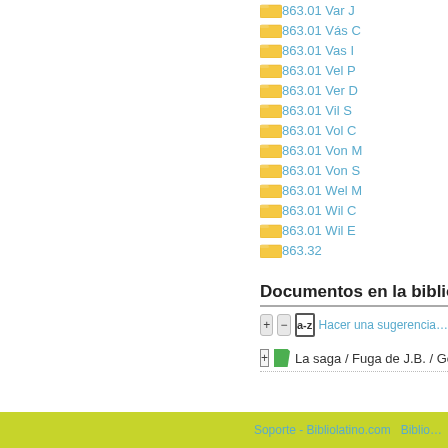863.01 Var J
863.01 Vás C
863.01 Vas I
863.01 Vel P
863.01 Ver D
863.01 Vil S
863.01 Vol C
863.01 Von M
863.01 Von S
863.01 Wel M
863.01 Wil C
863.01 Wil E
863.32
Documentos en la bibliote…
+ − a-z  Hacer una sugerencia…
+ La saga / Fuga de J.B. / Gonz…
Soporte - Bibliolatino.com  Biblio…